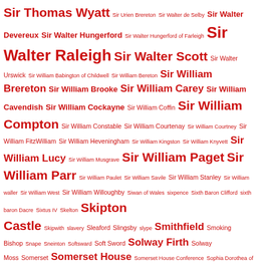Sir Thomas Wyatt Sir Urien Brereton Sir Walter de Selby Sir Walter Devereux Sir Walter Hungerford Sir Walter Hungerford of Farleigh Sir Walter Raleigh Sir Walter Scott Sir Walter Urswick Sir William Babington of Childwell Sir William Bereton Sir William Brereton Sir William Brooke Sir William Carey Sir William Cavendish Sir William Cockayne Sir William Coffin Sir William Compton Sir William Constable Sir William Courtenay Sir William Courtney Sir William FitzWilliam Sir William Heveningham Sir William Kingston Sir William Knyvett Sir William Lucy Sir William Musgrave Sir William Paget Sir William Parr Sir William Paulet Sir William Savile Sir William Stanley Sir William waller Sir William West Sir William Willoughby Siwan of Wales sixpence Sixth Baron Clifford sixth baron Dacre Sixtus IV Skelton Skipton Castle Skipwith slavery Sleaford Slingsby slype Smithfield Smoking Bishop Snape Sneinton Softsward Soft Sword Solway Firth Solway Moss Somerset Somerset House Somerset House Conference Sophia Dorothea of Celle Sophia of Hanover